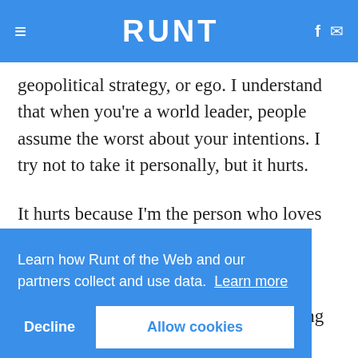RUNT
geopolitical strategy, or ego. I understand that when you're a world leader, people assume the worst about your intentions. I try not to take it personally, but it hurts.
It hurts because I'm the person who loves Ukraine the most.
Learn how Runt of the Web and our partners collect and use data. Learn more
Decline  Allow cookies
else has a separate walk-in closet housing